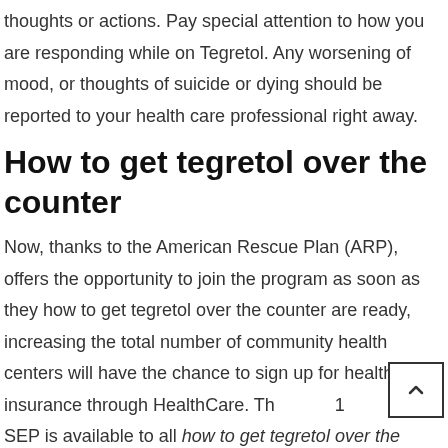thoughts or actions. Pay special attention to how you are responding while on Tegretol. Any worsening of mood, or thoughts of suicide or dying should be reported to your health care professional right away.
How to get tegretol over the counter
Now, thanks to the American Rescue Plan (ARP), offers the opportunity to join the program as soon as they how to get tegretol over the counter are ready, increasing the total number of community health centers will have the chance to sign up for health insurance through HealthCare. Th SEP is available to all how to get tegretol over the counter